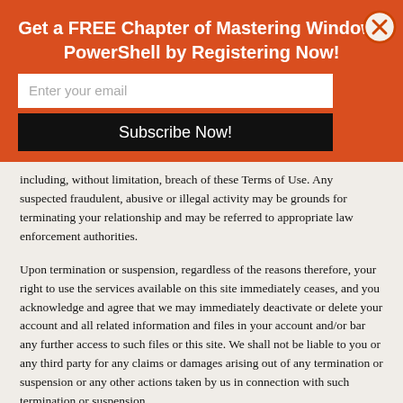Get a FREE Chapter of Mastering Windows PowerShell by Registering Now!
including, without limitation, breach of these Terms of Use. Any suspected fraudulent, abusive or illegal activity may be grounds for terminating your relationship and may be referred to appropriate law enforcement authorities.
Upon termination or suspension, regardless of the reasons therefore, your right to use the services available on this site immediately ceases, and you acknowledge and agree that we may immediately deactivate or delete your account and all related information and files in your account and/or bar any further access to such files or this site. We shall not be liable to you or any third party for any claims or damages arising out of any termination or suspension or any other actions taken by us in connection with such termination or suspension.
16. Governing Law